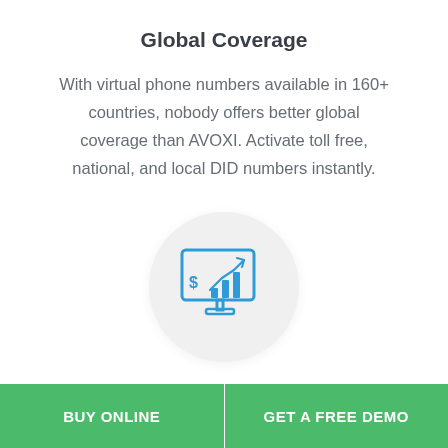Global Coverage
With virtual phone numbers available in 160+ countries, nobody offers better global coverage than AVOXI. Activate toll free, national, and local DID numbers instantly.
[Figure (illustration): Monitor/computer screen icon with a bar chart and dollar sign, displayed inside a light gray circle, rendered in blue outline style.]
BUY ONLINE | GET A FREE DEMO